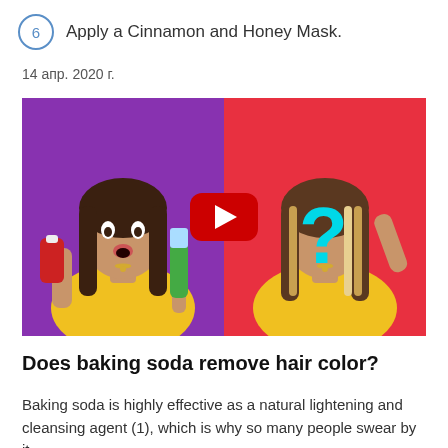6  Apply a Cinnamon and Honey Mask.
14 апр. 2020 г.
[Figure (screenshot): YouTube video thumbnail showing two side-by-side images of a young woman in a yellow top. Left panel has purple background, woman holds toothpaste and a toothbrush. Right panel has red background, woman's face is obscured by a cyan question mark. A red YouTube play button is centered over both panels.]
Does baking soda remove hair color?
Baking soda is highly effective as a natural lightening and cleansing agent (1), which is why so many people swear by it